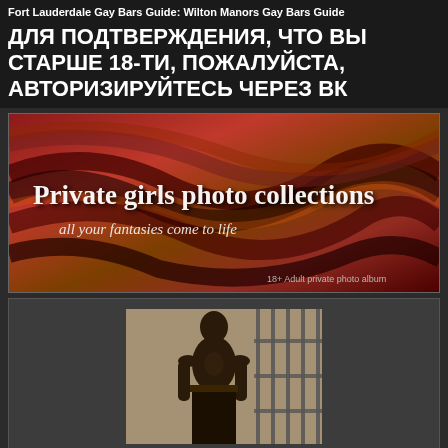Fort Lauderdale Gay Bars Guide: Wilton Manors Gay Bars Guide
ДЛЯ ПОДТВЕРЖДЕНИЯ, ЧТО ВЫ СТАРШЕ 18-ТИ, ПОЖАЛУЙСТА, АВТОРИЗИРУЙТЕСЬ ЧЕРЕЗ ВК
[Figure (photo): Advertisement banner with red/orange/brown abstract background. Text reads 'Private girls photo collections' and 'all your fantasies come to life'. Small caption: '18+ Adult private photo album']
[Figure (photo): Photo of a shirtless man standing in front of what appears to be a building with metal bars/gate, shown from approximately waist up]